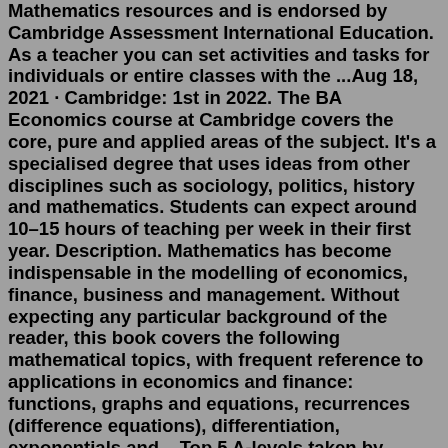Mathematics resources and is endorsed by Cambridge Assessment International Education. As a teacher you can set activities and tasks for individuals or entire classes with the ...Aug 18, 2021 · Cambridge: 1st in 2022. The BA Economics course at Cambridge covers the core, pure and applied areas of the subject. It's a specialised degree that uses ideas from other disciplines such as sociology, politics, history and mathematics. Students can expect around 10–15 hours of teaching per week in their first year. Description. Mathematics has become indispensable in the modelling of economics, finance, business and management. Without expecting any particular background of the reader, this book covers the following mathematical topics, with frequent reference to applications in economics and finance: functions, graphs and equations, recurrences (difference equations), differentiation, exponentials and ...Top 5 A-levels taken by students who study this subject at uni Further Mathematics 98% Mathematics 97% Physics 90% Chemistry 58%